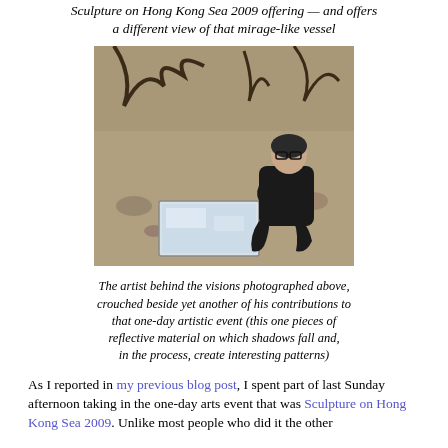Sculpture on Hong Kong Sea 2009 offering — and offers a different view of that mirage-like vessel
[Figure (photo): A man crouched beside a flat square piece of reflective material placed on rocky/gravelly ground among trees and brush.]
The artist behind the visions photographed above, crouched beside yet another of his contributions to that one-day artistic event (this one pieces of reflective material on which shadows fall and, in the process, create interesting patterns)
As I reported in my previous blog post, I spent part of last Sunday afternoon taking in the one-day arts event that was Sculpture on Hong Kong Sea 2009. Unlike most people who did it the other